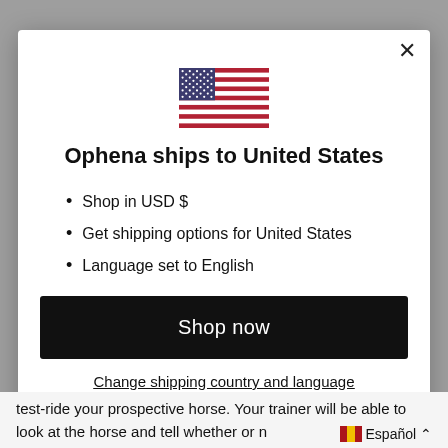[Figure (illustration): US flag icon centered at top of modal dialog]
Ophena ships to United States
Shop in USD $
Get shipping options for United States
Language set to English
Shop now
Change shipping country and language
test-ride your prospective horse. Your trainer will be able to look at the horse and tell whether or n
Español